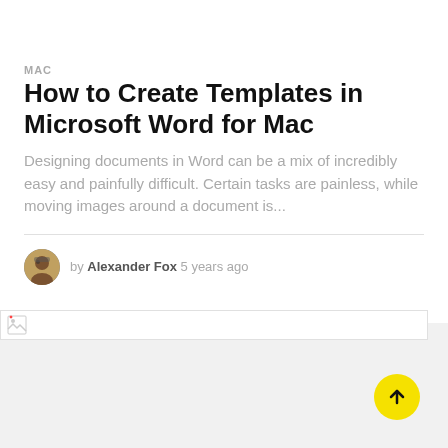MAC
How to Create Templates in Microsoft Word for Mac
Designing documents in Word can be a mix of incredibly easy and painfully difficult. Certain tasks are painless, while moving images around a document is...
by Alexander Fox 5 years ago
[Figure (photo): Broken image placeholder at top of article content area]
[Figure (other): Yellow circular scroll-to-top button with upward arrow]